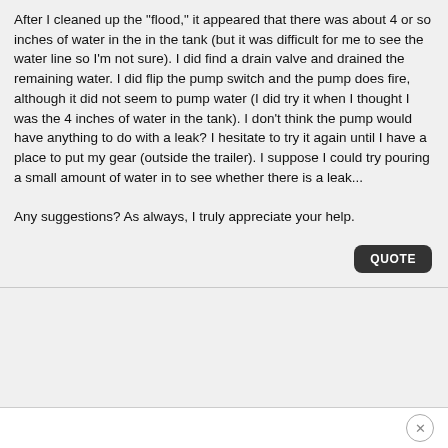After I cleaned up the "flood," it appeared that there was about 4 or so inches of water in the in the tank (but it was difficult for me to see the water line so I'm not sure). I did find a drain valve and drained the remaining water. I did flip the pump switch and the pump does fire, although it did not seem to pump water (I did try it when I thought I was the 4 inches of water in the tank). I don't think the pump would have anything to do with a leak? I hesitate to try it again until I have a place to put my gear (outside the trailer). I suppose I could try pouring a small amount of water in to see whether there is a leak...

Any suggestions? As always, I truly appreciate your help.